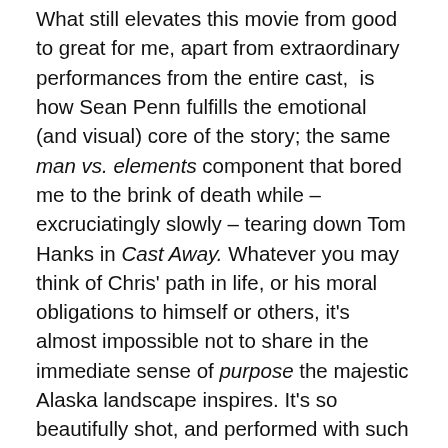What still elevates this movie from good to great for me, apart from extraordinary performances from the entire cast,  is how Sean Penn fulfills the emotional (and visual) core of the story; the same man vs. elements component that bored me to the brink of death while – excruciatingly slowly – tearing down Tom Hanks in Cast Away. Whatever you may think of Chris' path in life, or his moral obligations to himself or others, it's almost impossible not to share in the immediate sense of purpose the majestic Alaska landscape inspires. It's so beautifully shot, and performed with such convincing intensity by Hirsch, that for a moment, I actually thought this was Man's final victory over Nature. But it isn't, of course. It may not sound like all that much, but to me, the key scene, in which Chris kills and the slowly and methodically butchers a moose, doesn't stand back in any way to the epic quality and ambition of the universally praised (and deservedly so)